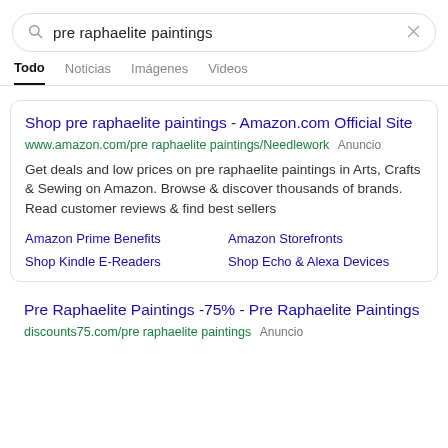[Figure (screenshot): Search bar with query 'pre raphaelite paintings' and X close button]
Todo  Noticias  Imágenes  Videos
Shop pre raphaelite paintings - Amazon.com Official Site
www.amazon.com/pre raphaelite paintings/Needlework Anuncio
Get deals and low prices on pre raphaelite paintings in Arts, Crafts & Sewing on Amazon. Browse & discover thousands of brands. Read customer reviews & find best sellers
Amazon Prime Benefits
Amazon Storefronts
Shop Kindle E-Readers
Shop Echo & Alexa Devices
Pre Raphaelite Paintings -75% - Pre Raphaelite Paintings
discounts75.com/pre raphaelite paintings Anuncio